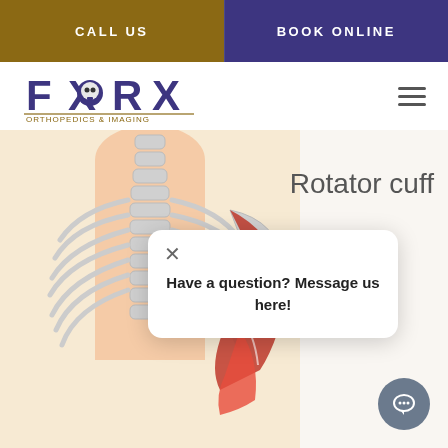CALL US
BOOK ONLINE
[Figure (logo): FXRX Orthopedics & Imaging logo with skull/spine graphic in blue and gold]
[Figure (illustration): Anatomical illustration of human back showing spine, ribcage, and rotator cuff muscles in red]
Rotator cuff
Have a question? Message us here!